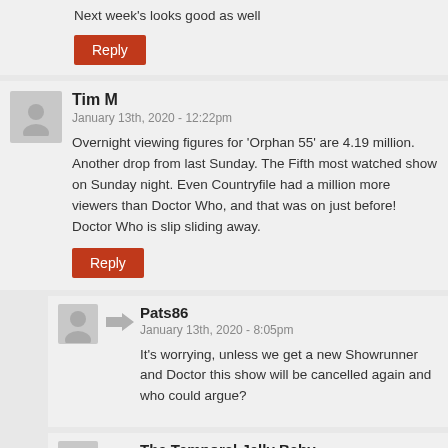Next week's looks good as well
Reply
Tim M
January 13th, 2020 - 12:22pm
Overnight viewing figures for 'Orphan 55' are 4.19 million. Another drop from last Sunday. The Fifth most watched show on Sunday night. Even Countryfile had a million more viewers than Doctor Who, and that was on just before! Doctor Who is slip sliding away.
Reply
Pats86
January 13th, 2020 - 8:05pm
It's worrying, unless we get a new Showrunner and Doctor this show will be cancelled again and who could argue?
The Temporal Jelly Baby
January 13th, 2020 - 11:13pm